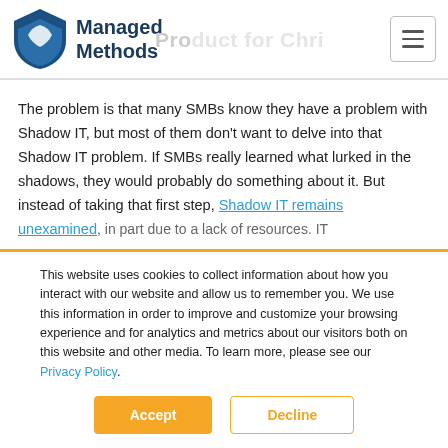Managed Methods
The problem is that many SMBs know they have a problem with Shadow IT, but most of them don't want to delve into that Shadow IT problem. If SMBs really learned what lurked in the shadows, they would probably do something about it. But instead of taking that first step, Shadow IT remains unexamined, in part due to a lack of resources. IT
This website uses cookies to collect information about how you interact with our website and allow us to remember you. We use this information in order to improve and customize your browsing experience and for analytics and metrics about our visitors both on this website and other media. To learn more, please see our Privacy Policy.